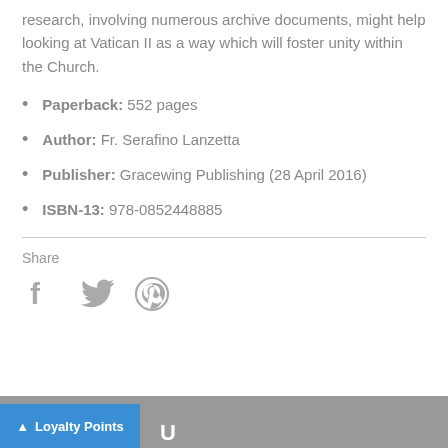research, involving numerous archive documents, might help looking at Vatican II as a way which will foster unity within the Church.
Paperback: 552 pages
Author: Fr. Serafino Lanzetta
Publisher: Gracewing Publishing (28 April 2016)
ISBN-13: 978-0852448885
Share
[Figure (infographic): Social media share icons: Facebook (f), Twitter (bird), Pinterest (p)]
Loyalty Points